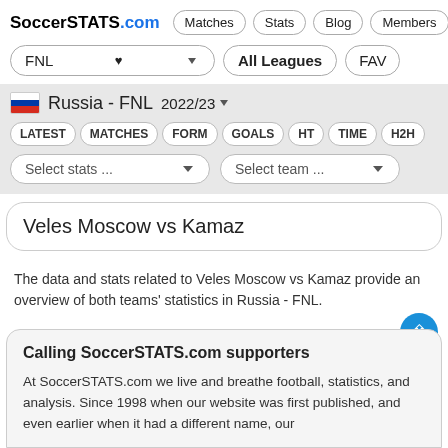SoccerSTATS.com  Matches  Stats  Blog  Members
FNL  All Leagues  FAV
Russia - FNL  2022/23
LATEST  MATCHES  FORM  GOALS  HT  TIME  H2H
Select stats ...  Select team ...
Veles Moscow vs Kamaz
The data and stats related to Veles Moscow vs Kamaz provide an overview of both teams' statistics in Russia - FNL.
Calling SoccerSTATS.com supporters
At SoccerSTATS.com we live and breathe football, statistics, and analysis. Since 1998 when our website was first published, and even earlier when it had a different name, our